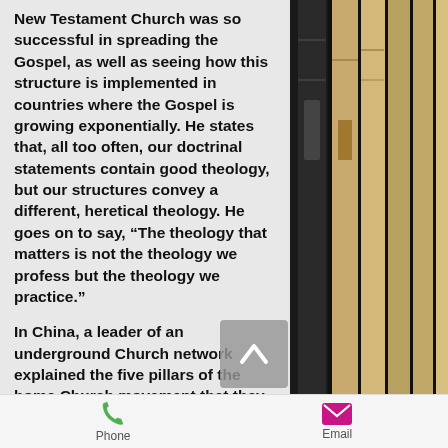New Testament Church was so successful in spreading the Gospel, as well as seeing how this structure is implemented in countries where the Gospel is growing exponentially.  He states that, all too often, our doctrinal statements contain good theology, but our structures convey a different, heretical theology.  He goes on to say, “The theology that matters is not the theology we profess but the theology we practice.”
In China, a leader of an underground Church network explained the five pillars of the home Church movement that they follow:  1. Deep commitment to prayer. 2. Commitment to the Word
[Figure (photo): Stack of books with dark spines and light pages, photographed from the side.]
Phone   Email